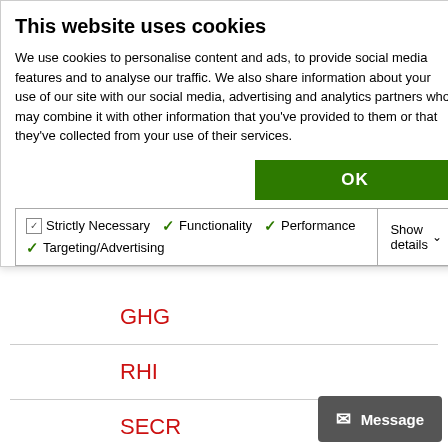This website uses cookies
We use cookies to personalise content and ads, to provide social media features and to analyse our traffic. We also share information about your use of our site with our social media, advertising and analytics partners who may combine it with other information that you've provided to them or that they've collected from your use of their services.
OK
Strictly Necessary  ✓ Functionality  ✓ Performance  ✓ Targeting/Advertising  Show details ∨
GHG
RHI
SECR
Wholesale Market
– 2022 (32)
– August (4)
Message